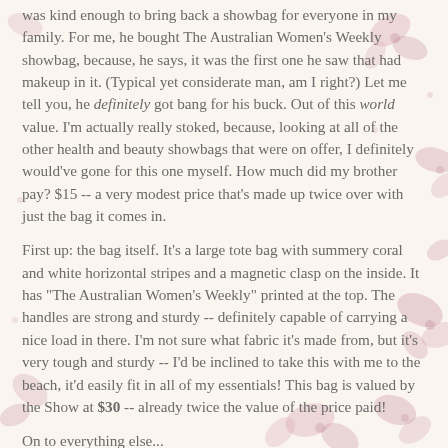was kind enough to bring back a showbag for everyone in my family. For me, he bought The Australian Women's Weekly showbag, because, he says, it was the first one he saw that had makeup in it. (Typical yet considerate man, am I right?) Let me tell you, he definitely got bang for his buck. Out of this world value. I'm actually really stoked, because, looking at all of the other health and beauty showbags that were on offer, I definitely would've gone for this one myself. How much did my brother pay? $15 -- a very modest price that's made up twice over with just the bag it comes in.
First up: the bag itself. It's a large tote bag with summery coral and white horizontal stripes and a magnetic clasp on the inside. It has "The Australian Women's Weekly" printed at the top. The handles are strong and sturdy -- definitely capable of carrying a nice load in there. I'm not sure what fabric it's made from, but it's very tough and sturdy -- I'd be inclined to take this with me to the beach, it'd easily fit in all of my essentials! This bag is valued by the Show at $30 -- already twice the value of the price paid!
On to everything else...